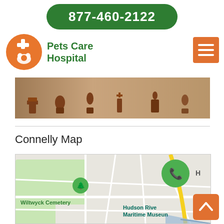877-460-2122
[Figure (logo): Pets Care Hospital logo with orange circle containing animal silhouette and cross]
Pets Care Hospital
[Figure (other): Orange hamburger menu button with three white horizontal lines]
[Figure (photo): Image of wooden chess pieces arranged in a row on a light background]
Connelly Map
[Figure (map): Map showing Wiltwyck Cemetery and Hudson River Maritime Museum area with streets and a green phone FAB button overlay]
[Figure (other): Orange back-to-top button with upward chevron arrow]